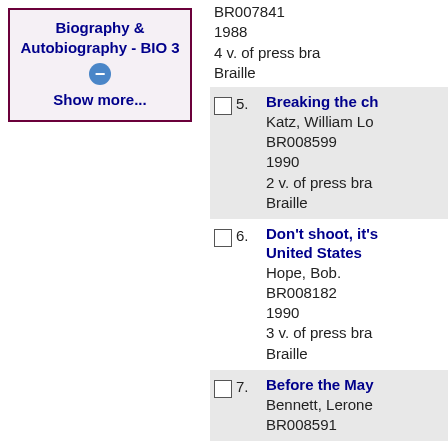Biography & Autobiography - BIO 3
Show more...
BR007841
1988
4 v. of press bra
Braille
5. Breaking the ch
Katz, William Lo
BR008599
1990
2 v. of press bra
Braille
6. Don't shoot, it's United States
Hope, Bob.
BR008182
1990
3 v. of press bra
Braille
7. Before the May
Bennett, Lerone
BR008591